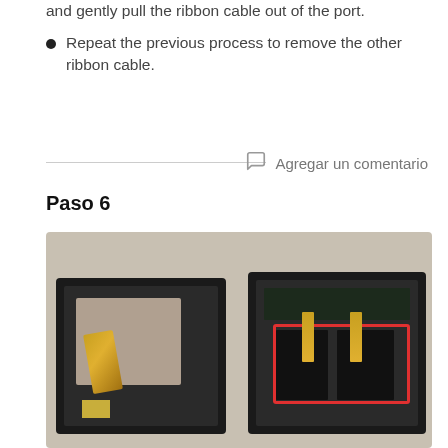Repeat the previous process to remove the other ribbon cable.
Agregar un comentario
Paso 6
[Figure (photo): Photo of a disassembled tablet showing two halves: left side showing LCD panel and ribbon cable, right side showing circuit board with two dark panels and ribbon cables highlighted with a red rectangle.]